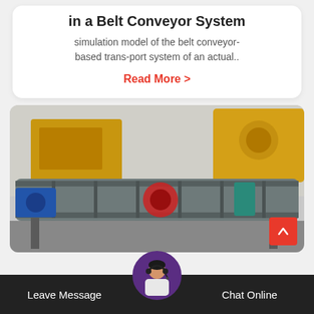in a Belt Conveyor System
simulation model of the belt conveyor-based trans-port system of an actual..
Read More >
[Figure (photo): Industrial machinery — heavy yellow construction/mining equipment and a grey belt conveyor system with blue motor in a warehouse or yard setting.]
Leave Message
Chat Online